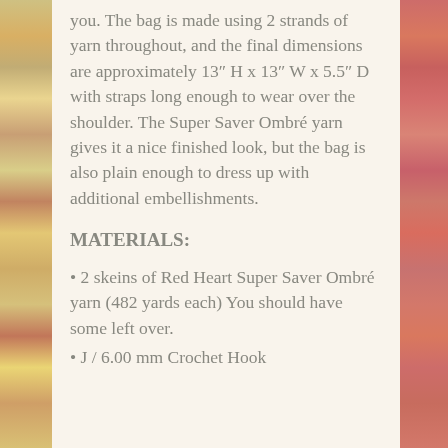you. The bag is made using 2 strands of yarn throughout, and the final dimensions are approximately 13″ H x 13″ W x 5.5″ D with straps long enough to wear over the shoulder. The Super Saver Ombré yarn gives it a nice finished look, but the bag is also plain enough to dress up with additional embellishments.
MATERIALS:
• 2 skeins of Red Heart Super Saver Ombré yarn (482 yards each) You should have some left over.
• J / 6.00 mm Crochet Hook